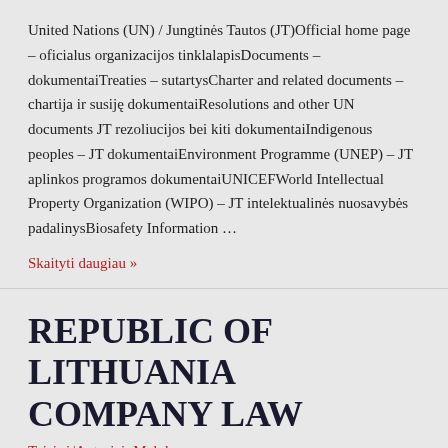United Nations (UN) / Jungtinės Tautos (JT)Official home page – oficialus organizacijos tinklalapisDocuments – dokumentaiTreaties – sutartysCharter and related documents – chartija ir susiję dokumentaiResolutions and other UN documents JT rezoliucijos bei kiti dokumentaiIndigenous peoples – JT dokumentaiEnvironment Programme (UNEP) – JT aplinkos programos dokumentaiUNICEFWorld Intellectual Property Organization (WIPO) – JT intelektualinės nuosavybės padalinysBiosafety Information …
Skaityti daugiau »
REPUBLIC OF LITHUANIA COMPANY LAW
Teisinė/Autoriai: Malolos...